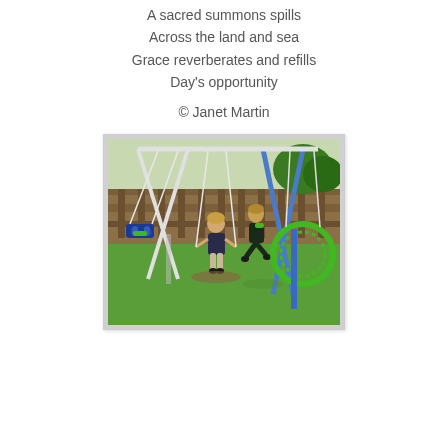A sacred summons spills
Across the land and sea
Grace reverberates and refills
Day's opportunity
© Janet Martin
[Figure (photo): Two young children playing on a swing set in a grassy backyard. The swing set has blue metal poles, white ropes, and a large circular green nest swing on the right. A blue butterfly/bowtie-shaped swing seat hangs on the left. A wooden fence and green trees are visible in the background. The grass is lush green.]